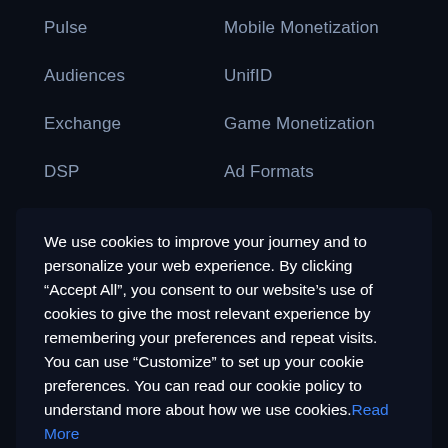Pulse
Mobile Monetization
Audiences
UnifID
Exchange
Game Monetization
DSP
Ad Formats
We use cookies to improve your journey and to personalize your web experience. By clicking “Accept All”, you consent to our website’s use of cookies to give the most relevant experience by remembering your preferences and repeat visits. You can use “Customize” to set up your cookie preferences. You can read our cookie policy to understand more about how we use cookies. Read More
DECLINE
CUSTOMIZE
ACCEPT ALL